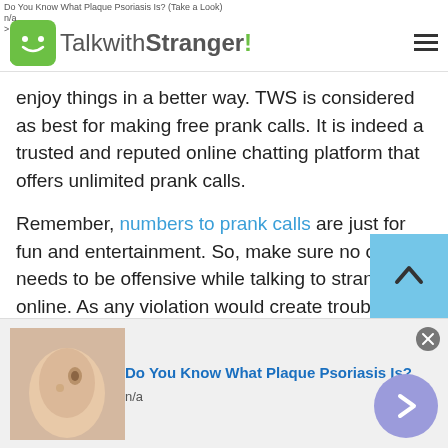TalkwithStranger!
enjoy things in a better way. TWS is considered as best for making free prank calls. It is indeed a trusted and reputed online chatting platform that offers unlimited prank calls.
Remember, numbers to prank calls are just for fun and entertainment. So, make sure no one needs to be offensive while talking to strangers online. As any violation would create trouble for you i.e. you will be blocked by the admin or moderators. However, if you ever feel uncomfortable while revealing your identity then you can more prank calls
[Figure (screenshot): Ad banner at bottom: Do You Know What Plaque Psoriasis Is? with skin photo and n/a label, close button and next arrow button]